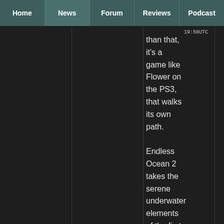Home | News | Forum | Reviews | Podcast
than that, it's a game like Flower on the PS3, that walks its own path.

Endless Ocean 2 takes the serene underwater elements of the first game, and